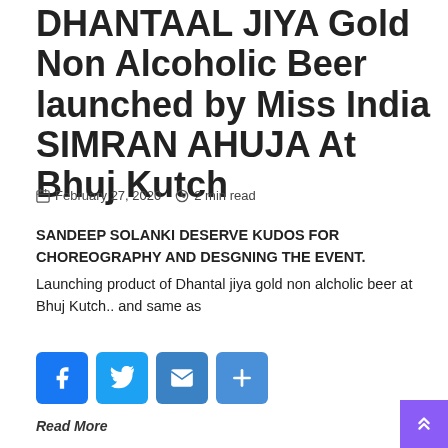DHANTAAL JIYA Gold Non Alcoholic Beer launched by Miss India SIMRAN AHUJA At Bhuj Kutch
February 27, 2020   2 min read
SANDEEP SOLANKI DESERVE KUDOS FOR CHOREOGRAPHY AND DESGNING THE EVENT. Launching product of Dhantal jiya gold non alcholic beer at Bhuj Kutch.. and same as
[Figure (infographic): Social sharing buttons: Facebook, Twitter, Email, Share (plus icon)]
Read More